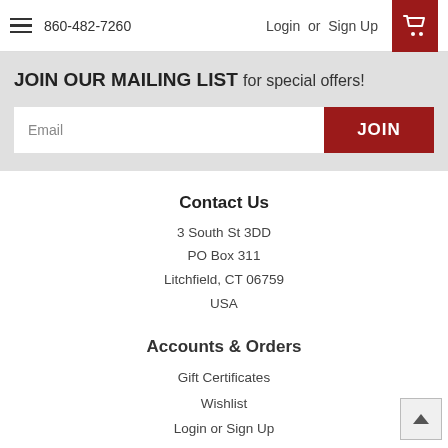860-482-7260  Login or Sign Up
JOIN OUR MAILING LIST for special offers!
Email  JOIN
Contact Us
3 South St 3DD
PO Box 311
Litchfield, CT 06759
USA
Accounts & Orders
Gift Certificates
Wishlist
Login or Sign Up
Shipping & Returns